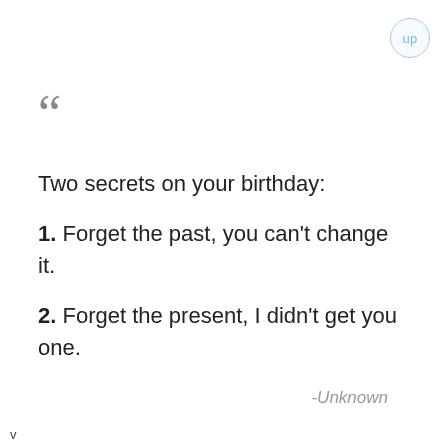up
““
Two secrets on your birthday:
1. Forget the past, you can't change it.
2. Forget the present, I didn't get you one.
-Unknown
v